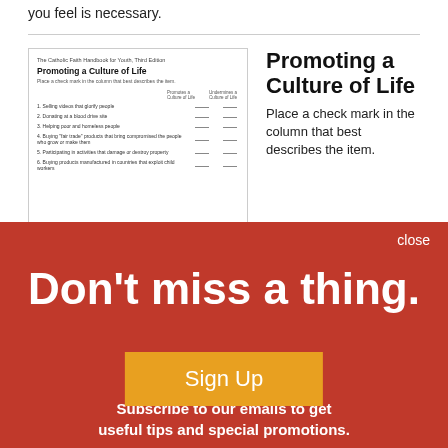you feel is necessary.
[Figure (screenshot): Thumbnail of a worksheet titled 'Promoting a Culture of Life' from The Catholic Faith Handbook for Youth, Third Edition, showing a checklist table with columns for checking off items]
Promoting a Culture of Life
Place a check mark in the column that best describes the item.
[Figure (infographic): Red modal overlay with 'Don't miss a thing.' headline, subscribe text, and Sign Up button in orange/gold]
Morally Good or Morally Suspect
For each situation, determine if the act itself is good, neutral, or bad; whether the intent is good; and whether the circumstances keep the person who is considering the action